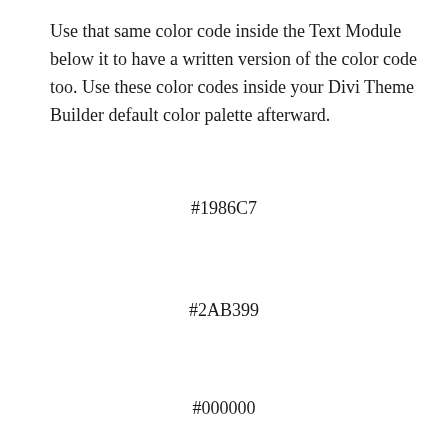Use that same color code inside the Text Module below it to have a written version of the color code too. Use these color codes inside your Divi Theme Builder default color palette afterward.
#1986C7
#2AB399
#000000